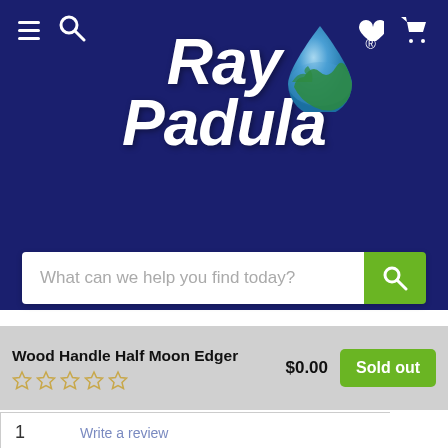[Figure (logo): Ray Padula brand logo with globe water drop on dark navy background]
What can we help you find today?
Wood Handle Half Moon Edger
$0.00
Sold out
1
Write a review